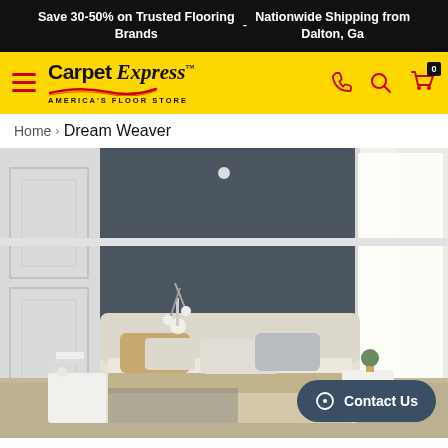Save 30-50% on Trusted Flooring Brands - Nationwide Shipping from Dalton, Ga
[Figure (logo): Carpet Express America's Floor Store logo with hamburger menu and navigation icons on yellow background]
Home > Dream Weaver
[Figure (photo): Modern bedroom interior with dark grey accent wall, bed with neutral pillows, white side tables, modern wall sconces, and sheer curtains]
Contact Us